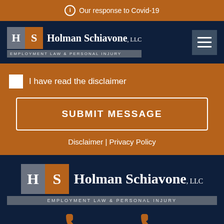Our response to Covid-19
[Figure (logo): Holman Schiavone LLC logo — H S letter boxes with firm name and tagline EMPLOYMENT LAW & PERSONAL INJURY]
I have read the disclaimer
SUBMIT MESSAGE
Disclaimer | Privacy Policy
[Figure (logo): Holman Schiavone LLC footer logo — larger H S letter boxes with firm name and tagline EMPLOYMENT LAW & PERSONAL INJURY]
[Figure (illustration): Two phone/telephone icons in orange at bottom of footer]